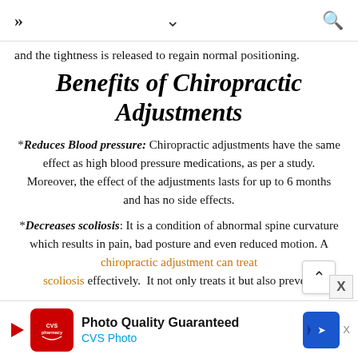» ∨ 🔍
and the tightness is released to regain normal positioning.
Benefits of Chiropractic Adjustments
*Reduces Blood pressure: Chiropractic adjustments have the same effect as high blood pressure medications, as per a study. Moreover, the effect of the adjustments lasts for up to 6 months and has no side effects.
*Decreases scoliosis: It is a condition of abnormal spine curvature which results in pain, bad posture and even reduced motion. A chiropractic adjustment can treat scoliosis effectively.  It not only treats it but also prevent
[Figure (other): CVS Photo advertisement banner with logo and 'Photo Quality Guaranteed' text]